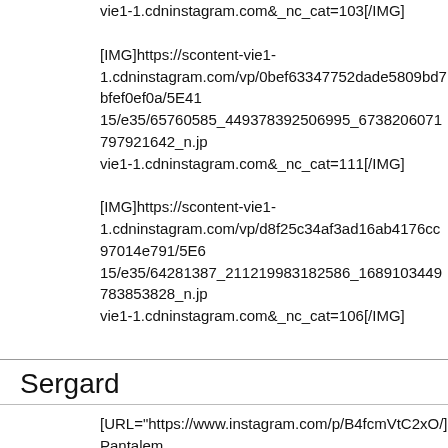vie1-1.cdninstagram.com&_nc_cat=103[/IMG]
[IMG]https://scontent-vie1-1.cdninstagram.com/vp/0bef63347752dade5809bd7bfef0ef0a/5E41 15/e35/65760585_449378392506995_673820607179792 1642_n.jp vie1-1.cdninstagram.com&_nc_cat=111[/IMG]
[IMG]https://scontent-vie1-1.cdninstagram.com/vp/d8f25c34af3ad16ab4176cc97014e791/5E6 15/e35/64281387_211219983182586_168910344978385 3828_n.jp vie1-1.cdninstagram.com&_nc_cat=106[/IMG]
Sergard
[URL="https://www.instagram.com/p/B4fcmVtC2xO/]Paolo Pantalem
[i]Jason Todd is Running over the pages of Red Hood #42 which is c board.[/i]
[IMG]https://scontent-vie1-1.cdninstagram.com/vp/2b971732ed4aab36897aa5459d1b6a3e/5E 15/e35/75412691_3092606657421615_54994896705603 98257_n.j vie1-1.cdninstagram.com&_nc_cat=103[/IMG]